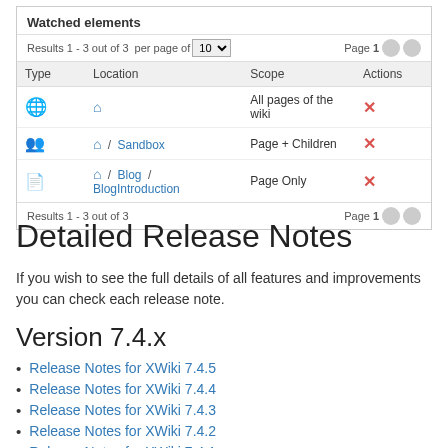[Figure (screenshot): Screenshot of 'Watched elements' table showing three rows: a globe icon watching all pages of the wiki, a people icon watching Sandbox (Page + Children), and a file icon watching Blog/BlogIntroduction (Page Only). Each row has a red X action button. Results 1-3 out of 3, per page of 10, Page 1.]
Detailed Release Notes
If you wish to see the full details of all features and improvements you can check each release note.
Version 7.4.x
Release Notes for XWiki 7.4.5
Release Notes for XWiki 7.4.4
Release Notes for XWiki 7.4.3
Release Notes for XWiki 7.4.2
Release Notes for XWiki 7.4.1